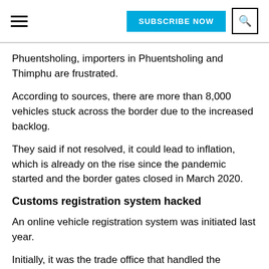SUBSCRIBE NOW | [search icon]
Phuentsholing, importers in Phuentsholing and Thimphu are frustrated.
According to sources, there are more than 8,000 vehicles stuck across the border due to the increased backlog.
They said if not resolved, it could lead to inflation, which is already on the rise since the pandemic started and the border gates closed in March 2020.
Customs registration system hacked
An online vehicle registration system was initiated last year.
Initially, it was the trade office that handled the registration. Importers from across the country would register their details prior to importing. Trade office would then accept it, depending on a first-come-first basis and the importance of